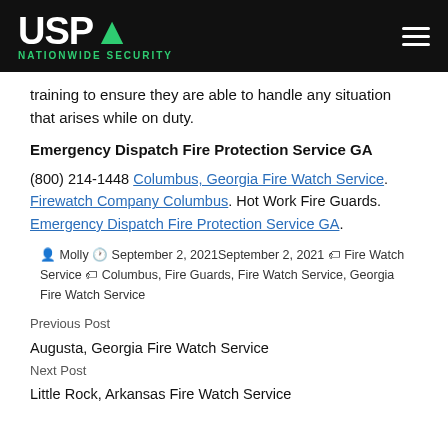USPA NATIONWIDE SECURITY
training to ensure they are able to handle any situation that arises while on duty.
Emergency Dispatch Fire Protection Service GA
(800) 214-1448 Columbus, Georgia Fire Watch Service. Firewatch Company Columbus. Hot Work Fire Guards. Emergency Dispatch Fire Protection Service GA.
Molly  September 2, 2021September 2, 2021  Fire Watch Service  Columbus, Fire Guards, Fire Watch Service, Georgia Fire Watch Service
Previous Post
Augusta, Georgia Fire Watch Service
Next Post
Little Rock, Arkansas Fire Watch Service